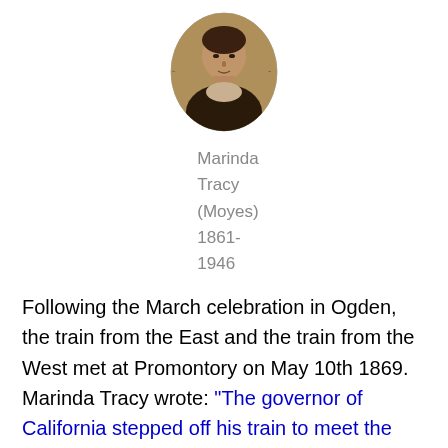[Figure (photo): Oval portrait photograph of Marinda Tracy (Moyes), a woman from the 19th/early 20th century, shown from shoulders up.]
Marinda Tracy (Moyes) 1861-1946
Following the March celebration in Ogden, the train from the East and the train from the West met at Promontory on May 10th 1869.  Marinda Tracy wrote: “The governor of California stepped off his train to meet the great men from the east.  There were many cheers, whistles were shrieking, and there was lots and lots of noise.  Flags were waving, and the bands played.  Among the hundreds of people gathered there, there were also many Indians. .  all